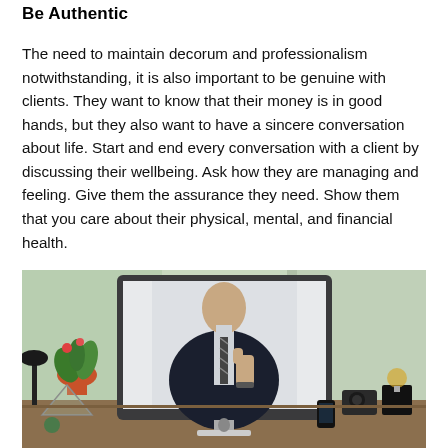Be Authentic
The need to maintain decorum and professionalism notwithstanding, it is also important to be genuine with clients. They want to know that their money is in good hands, but they also want to have a sincere conversation about life. Start and end every conversation with a client by discussing their wellbeing. Ask how they are managing and feeling. Give them the assurance they need. Show them that you care about their physical, mental, and financial health.
[Figure (photo): A man in a dark business suit giving a thumbs up gesture, displayed on a computer monitor screen on a desk. The desk has a lamp, potted plant, camera, and other objects. A window with green trees is visible in the background.]